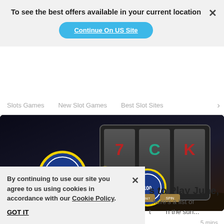To see the best offers available in your current location
Continue On US Site
[Figure (screenshot): Navigation bar with links: Slots Games, New Slot Games, Best Slot Sites and a right arrow]
[Figure (photo): Casino slot machine with blue and yellow poker chips scattered in front on a dark background]
Craig Cummings
5 mins
By continuing to use our site you agree to us using cookies in accordance with our Cookie Policy.
GOT IT
s to Play June, J
, here's a list of t n the sun...